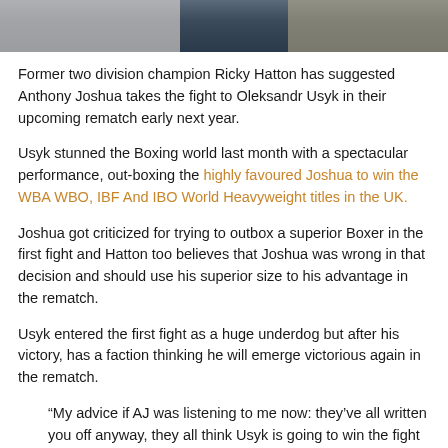[Figure (photo): Partial photo banner of boxing scene at top of page]
Former two division champion Ricky Hatton has suggested Anthony Joshua takes the fight to Oleksandr Usyk in their upcoming rematch early next year.
Usyk stunned the Boxing world last month with a spectacular performance, out-boxing the highly favoured Joshua to win the WBA WBO, IBF And IBO World Heavyweight titles in the UK.
Joshua got criticized for trying to outbox a superior Boxer in the first fight and Hatton too believes that Joshua was wrong in that decision and should use his superior size to his advantage in the rematch.
Usyk entered the first fight as a huge underdog but after his victory, has a faction thinking he will emerge victorious again in the rematch.
“My advice if AJ was listening to me now: they’ve all written you off anyway, they all think Usyk is going to win the fight even more comfortably – use that as your fuel to ram it down their throats,” Hatton told The Daily Mail.